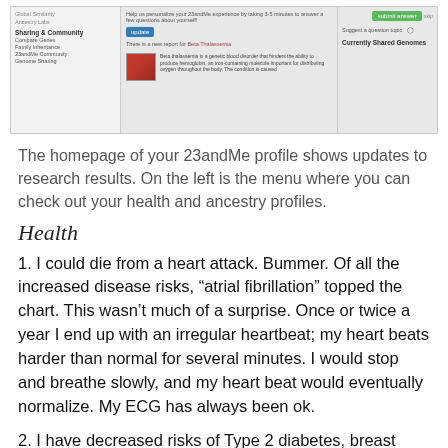[Figure (screenshot): Screenshot of the 23andMe profile homepage showing the left navigation menu with sections like 'Sharing & Community', 'Compare Genes', 'Family Inheritance', '23andMe Community', 'Genome Sharing', and the central content area showing a new report for Beta Thalassemia with a thumbnail image and descriptive text about the genetic blood disorder, plus a right panel with a green button, 'Suggest a question topic' link, and 'Currently Shared Genomes' heading.]
The homepage of your 23andMe profile shows updates to research results. On the left is the menu where you can check out your health and ancestry profiles.
Health
1. I could die from a heart attack. Bummer. Of all the increased disease risks, “atrial fibrillation” topped the chart. This wasn’t much of a surprise. Once or twice a year I end up with an irregular heartbeat; my heart beats harder than normal for several minutes. I would stop and breathe slowly, and my heart beat would eventually normalize. My ECG has always been ok.
2. I have decreased risks of Type 2 diabetes, breast